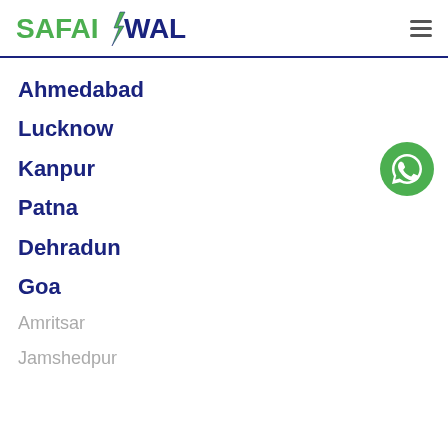SAFAIWALE
Ahmedabad
Lucknow
Kanpur
Patna
Dehradun
Goa
Amritsar
Jamshedpur
[Figure (illustration): WhatsApp floating action button (green circle with WhatsApp icon)]